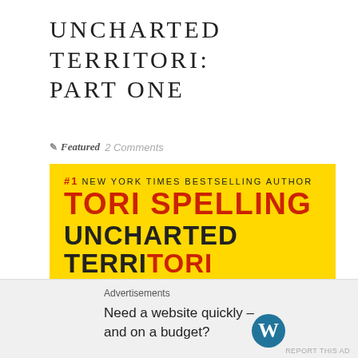UNCHARTED TERRITORI: PART ONE
Featured  2 Comments
[Figure (photo): Book cover of 'Uncharted TerriTORI' by Tori Spelling, yellow background with large red and dark text, author photo of blonde woman at bottom right, luggage at bottom left. Text reads: #1 NEW YORK TIMES BESTSELLING AUTHOR TORI SPELLING UNCHARTED TERRITORI]
Advertisements
Need a website quickly – and on a budget?